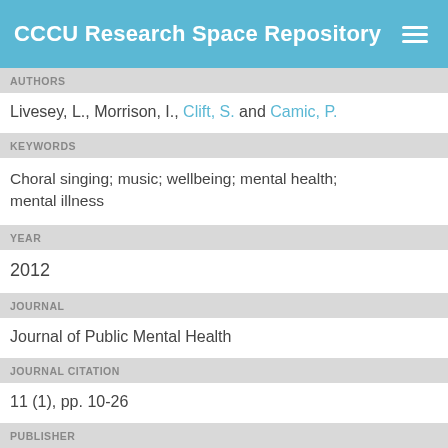CCCU Research Space Repository
AUTHORS
Livesey, L., Morrison, I., Clift, S. and Camic, P.
KEYWORDS
Choral singing; music; wellbeing; mental health; mental illness
YEAR
2012
JOURNAL
Journal of Public Mental Health
JOURNAL CITATION
11 (1), pp. 10-26
PUBLISHER
Emerald